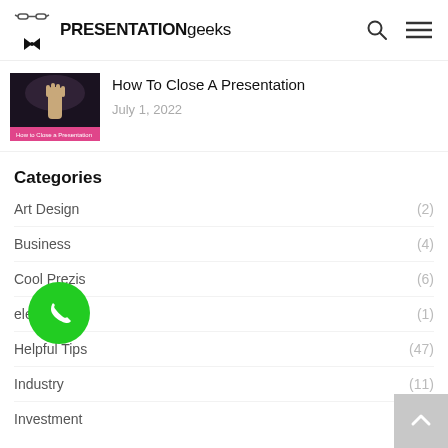PRESENTATION geeks
[Figure (screenshot): Thumbnail image of presentation with hand raised]
How To Close A Presentation
July 1, 2022
Categories
Art Design (2)
Business (4)
Cool Prezis (6)
elearning (1)
Helpful Tips (47)
Industry (11)
Investment (2)